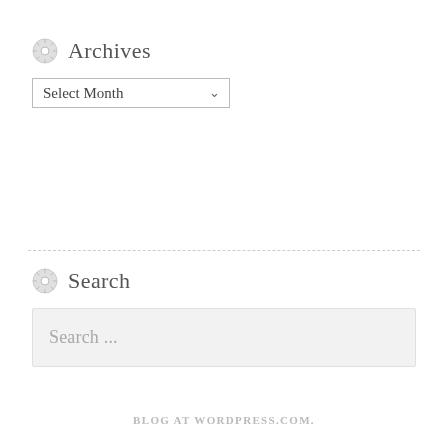Archives
Select Month
Search
Search ...
BLOG AT WORDPRESS.COM.